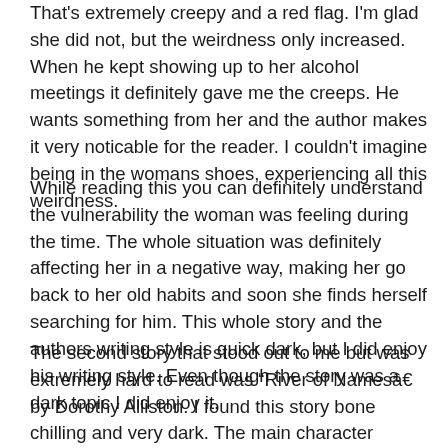That's extremely creepy and a red flag. I'm glad she did not, but the weirdness only increased. When he kept showing up to her alcohol meetings it definitely gave me the creeps. He wants something from her and the author makes it very noticable for the reader. I couldn't imagine being in the womans shoes, experiencing all this weirdness.
While reading this you can definitely understand the vulnerability the woman was feeling during the time. The whole situation was definitely affecting her in a negative way, making her go back to her old habits and soon she finds herself searching for him. This whole story and the authors writing style is quick dark, but I did enjoy his writing style. Even though the story was a dark topic I did enjoy it.
The second story that stood out to me but was extremely hard to read was “River of Namesâ€ by Dorothy Alliston. I found this story bone chilling and very dark. The main character remember and sharing the abuse they went through with the reader was hard to take in. It’s attitude I d